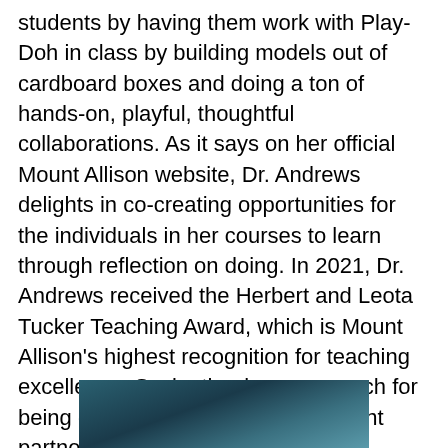students by having them work with Play-Doh in class by building models out of cardboard boxes and doing a ton of hands-on, playful, thoughtful collaborations. As it says on her official Mount Allison website, Dr. Andrews delights in co-creating opportunities for the individuals in her courses to learn through reflection on doing. In 2021, Dr. Andrews received the Herbert and Leota Tucker Teaching Award, which is Mount Allison's highest recognition for teaching excellence. Susie, thank you so much for being our first-ever guest and thought partner on this series.
[Figure (photo): Partial photo of a person, cropped at the bottom of the page, with dark teal/blue tones in the background.]